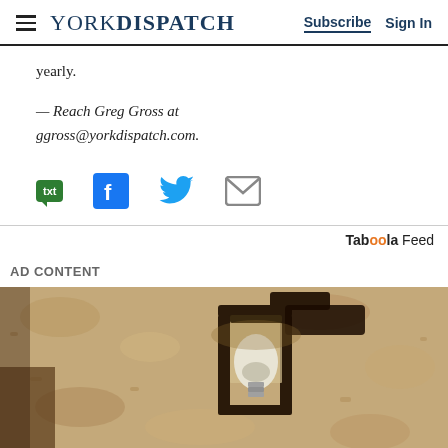YORK DISPATCH — Subscribe  Sign In
yearly.
— Reach Greg Gross at ggross@yorkdispatch.com.
[Figure (infographic): Social share icons: txt (green speech bubble), Facebook (blue F), Twitter (blue bird), Email (grey envelope)]
Taboola Feed
AD CONTENT
[Figure (photo): Close-up photo of an outdoor wall-mounted lantern light fixture with a white LED bulb, mounted on a textured stone/stucco wall]